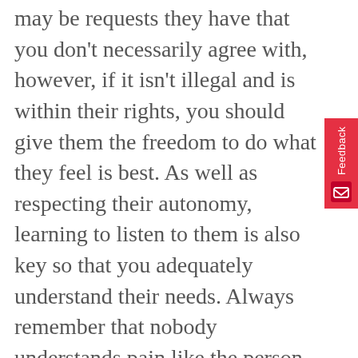may be requests they have that you don't necessarily agree with, however, if it isn't illegal and is within their rights, you should give them the freedom to do what they feel is best. As well as respecting their autonomy, learning to listen to them is also key so that you adequately understand their needs. Always remember that nobody understands pain like the person who is forced to endure it.
As a caregiver, you play a vital role in the lives of the vulnerable. By looking after them, you make dealing with their illness easier and